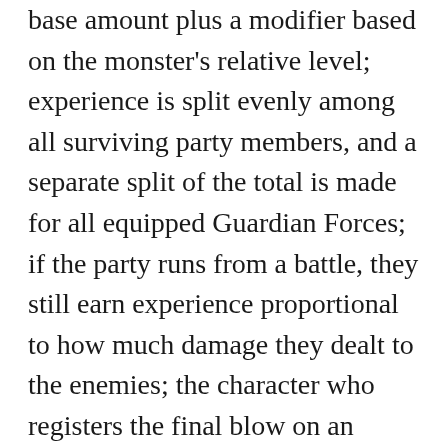base amount plus a modifier based on the monster's relative level; experience is split evenly among all surviving party members, and a separate split of the total is made for all equipped Guardian Forces; if the party runs from a battle, they still earn experience proportional to how much damage they dealt to the enemies; the character who registers the final blow on an enemy receives a bonus to experience, The amount of ability points yielded by defeating this monster; ability points beyond those needed to learn a GF's next ability are not carried over, Whether this monster is flying and/or undead; flying monsters are immune to earth damage; undead monsters are damaged by curing spells and healed by drain effects (the caster is harmed instead), The range of levels which this monster may appear at; the monster's